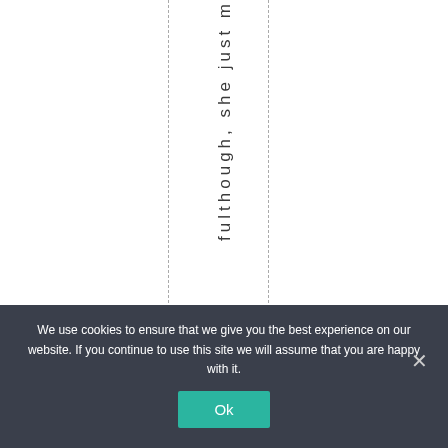fulthough, she just m
We use cookies to ensure that we give you the best experience on our website. If you continue to use this site we will assume that you are happy with it.